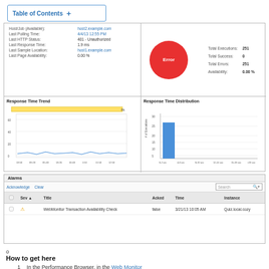Table of Contents +
[Figure (screenshot): Web monitor dashboard panel showing server info, error status circle, response time trend chart, response time distribution bar chart, and alerts table]
o
How to get here
1  In the Performance Browser, in the Web Monitor